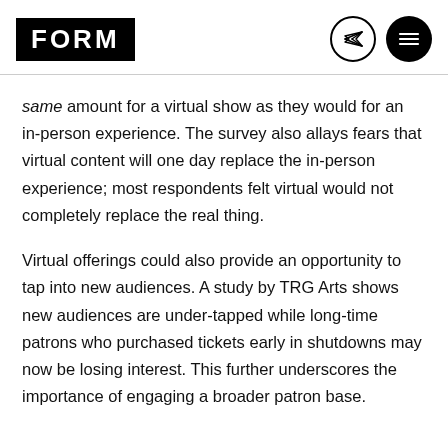FORM
same amount for a virtual show as they would for an in-person experience. The survey also allays fears that virtual content will one day replace the in-person experience; most respondents felt virtual would not completely replace the real thing.
Virtual offerings could also provide an opportunity to tap into new audiences. A study by TRG Arts shows new audiences are under-tapped while long-time patrons who purchased tickets early in shutdowns may now be losing interest. This further underscores the importance of engaging a broader patron base.